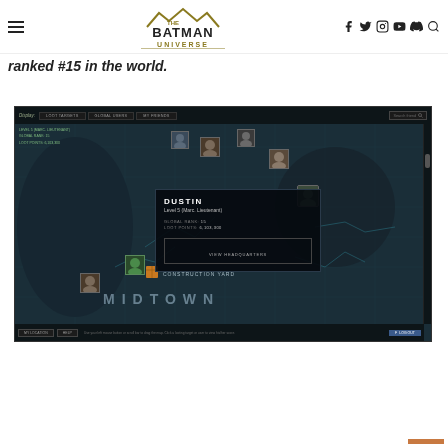The Batman Universe — navigation header with logo and social icons
ranked #15 in the world.
[Figure (screenshot): Screenshot of The Batman Universe online game interface showing a dark city map of Midtown with player avatars, a popup info panel for user 'DUSTIN' (Level 5 Marc. Lieutenant, Global Rank: 15, Loot Points: 6,103,300) with a 'VIEW HEADQUARTERS' button, navigation tabs (Loot Targets, Global Users, My Friends), a construction yard marker, and bottom bar with My Location and Help buttons.]